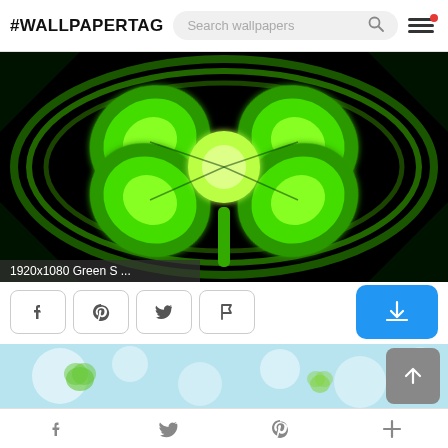#WALLPAPERTAG  Search wallpapers
[Figure (illustration): Glowing green four-leaf clover / shamrock on black background, digital art with bright lime-green neon outline and vein details. Label at bottom-left: '1920x1080 Green S ...']
[Figure (screenshot): Partial thumbnail strip showing a light blue bokeh background with green clover shapes]
f  (Twitter bird)  P  +